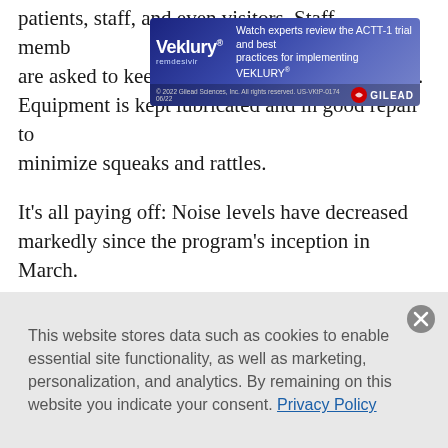patients, staff, and even visitors. Staff members are asked to keep their beepers on vibrate mode. Equipment is kept lubricated and in good repair to minimize squeaks and rattles.
[Figure (other): Veklury (remdesivir) advertisement banner by Gilead. Text reads: Watch experts review the ACTT-1 trial and best practices for implementing VEKLURY®. Copyright 2022 Gilead Sciences, Inc. All rights reserved. US-VKtP-0174 06/22]
It's all paying off: Noise levels have decreased markedly since the program's inception in March. Elodia Mercier, RN, the administrative nurse manager who developed the program, reports that patients tell her they are sleeping better, and the house staff finds the environment less stressful.—NM
This website stores data such as cookies to enable essential site functionality, as well as marketing, personalization, and analytics. By remaining on this website you indicate your consent. Privacy Policy